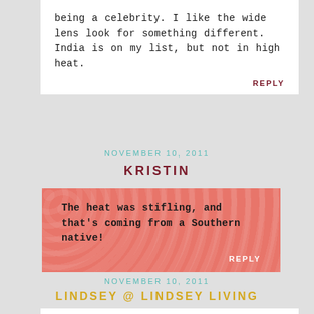being a celebrity. I like the wide lens look for something different. India is on my list, but not in high heat.
REPLY
NOVEMBER 10, 2011
KRISTIN
The heat was stifling, and that’s coming from a Southern native!
REPLY
NOVEMBER 10, 2011
LINDSEY @ LINDSEY LIVING